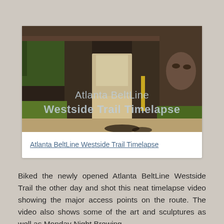[Figure (photo): Photograph of the Atlanta BeltLine Westside Trail showing a path leading under a bridge/overpass with a mural of a face on the right side wall, trees and greenery visible, with overlaid text reading 'Atlanta BeltLine Westside Trail Timelapse']
Atlanta BeltLine Westside Trail Timelapse
Biked the newly opened Atlanta BeltLine Westside Trail the other day and shot this neat timelapse video showing the major access points on the route. The video also shows some of the art and sculptures as well as Monday Night Brewing